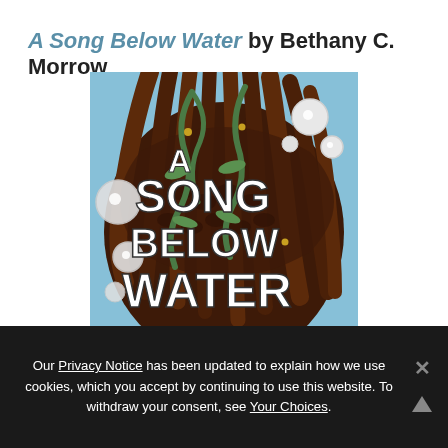A Song Below Water by Bethany C. Morrow
[Figure (illustration): Book cover of 'A Song Below Water' by Bethany C. Morrow, showing stylized illustration with large text 'A SONG BELOW WATER' in white hand-lettered style over a dark background with brown dreadlocks, green seaweed, pearl bubbles, and mermaid/siren imagery in blues and browns.]
Our Privacy Notice has been updated to explain how we use cookies, which you accept by continuing to use this website. To withdraw your consent, see Your Choices.